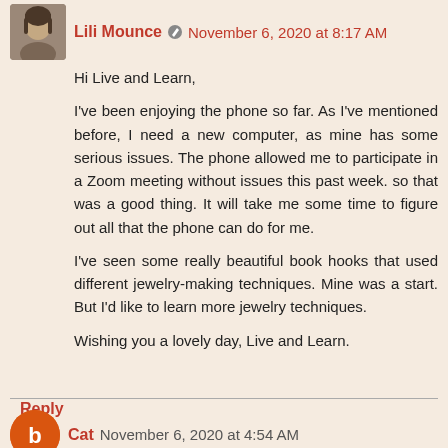[Figure (photo): Avatar photo of Lili Mounce, a woman with dark hair]
Lili Mounce ✏ November 6, 2020 at 8:17 AM
Hi Live and Learn,
I've been enjoying the phone so far. As I've mentioned before, I need a new computer, as mine has some serious issues. The phone allowed me to participate in a Zoom meeting without issues this past week. so that was a good thing. It will take me some time to figure out all that the phone can do for me.

I've seen some really beautiful book hooks that used different jewelry-making techniques. Mine was a start. But I'd like to learn more jewelry techniques.

Wishing you a lovely day, Live and Learn.
Reply
[Figure (illustration): Orange circular avatar icon for user Cat]
Cat November 6, 2020 at 4:54 AM